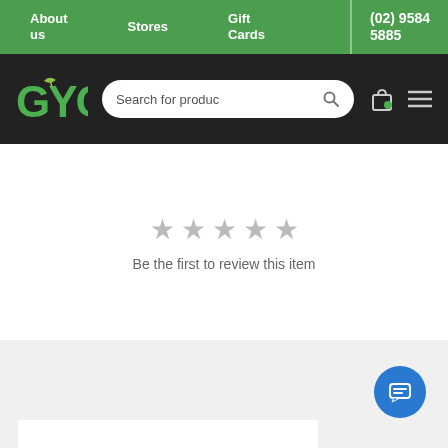About us   Stores   Gift Cards   (02) 9584 5885
[Figure (logo): GYC logo with green leaf accent on dark header bar, search bar reading 'Search for produc', shopping bag icon, and hamburger menu icon]
★ ★ ★ ★ ★
Be the first to review this item
[Figure (other): Blue circular chat button with speech bubble lines icon, positioned bottom right over gray footer area]